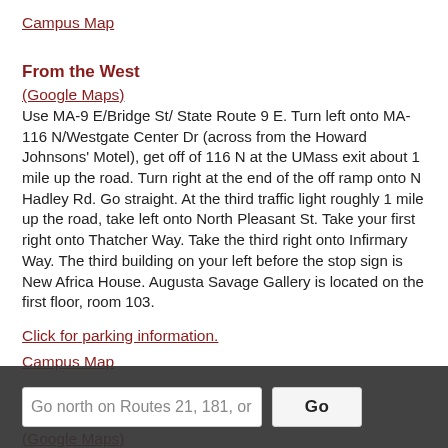Campus Map
From the West
(Google Maps)
Use MA-9 E/Bridge St/ State Route 9 E. Turn left onto MA-116 N/Westgate Center Dr (across from the Howard Johnsons' Motel), get off of 116 N at the UMass exit about 1 mile up the road. Turn right at the end of the off ramp onto N Hadley Rd. Go straight. At the third traffic light roughly 1 mile up the road, take left onto North Pleasant St. Take your first right onto Thatcher Way. Take the third right onto Infirmary Way. The third building on your left before the stop sign is New Africa House. Augusta Savage Gallery is located on the first floor, room 103.
Click for parking information.
Campus Map
From the Southeast
(Google Maps)
Go north on Routes 21, 181, or 202 to MA-
Follow Route 9 for about 11 miles. Bear...